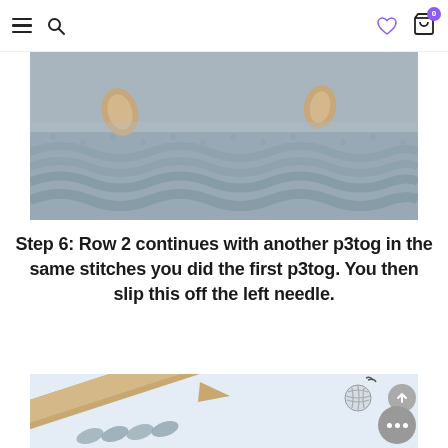Navigation header with hamburger menu, search icon, heart/wishlist icon, and cart icon with badge 0
[Figure (photo): Close-up photograph of grey fuzzy knitting with wooden needles visible, showing knit stitches in progress]
Step 6: Row 2 continues with another p3tog in the same stitches you did the first p3tog. You then slip this off the left needle.
[Figure (photo): Close-up photograph of wooden knitting needle with grey yarn stitches on light blue/grey background, with yarn ball icon and scroll-to-top button overlay]